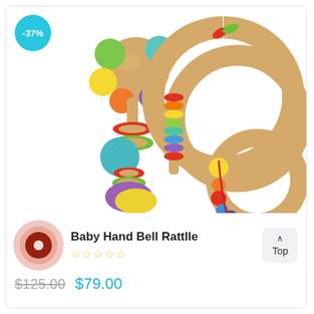[Figure (photo): Four colorful wooden baby rattle toys on white background: a flower-shaped rattle, a ring rattle with rainbow beads, a teether ring with beads, and a caterpillar rattle]
-37%
Baby Hand Bell Rattlle
☆☆☆☆☆
^ Top
$125.00  $79.00